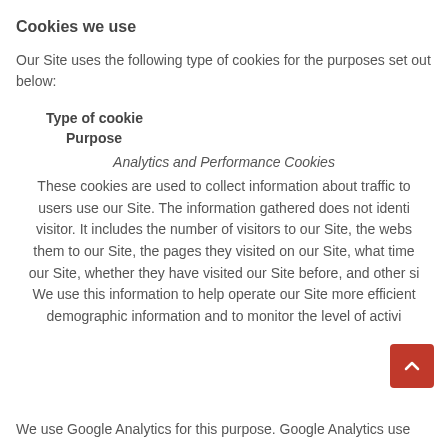Cookies we use
Our Site uses the following type of cookies for the purposes set out below:
Type of cookie
Purpose
Analytics and Performance Cookies
These cookies are used to collect information about traffic to users use our Site. The information gathered does not identi visitor. It includes the number of visitors to our Site, the webs them to our Site, the pages they visited on our Site, what time our Site, whether they have visited our Site before, and other si We use this information to help operate our Site more efficient demographic information and to monitor the level of activi
We use Google Analytics for this purpose. Google Analytics use